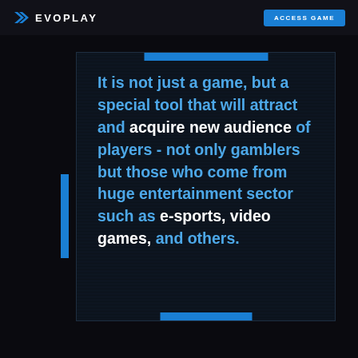EVOPLAY | ACCESS GAME
It is not just a game, but a special tool that will attract and acquire new audience of players - not only gamblers but those who come from huge entertainment sector such as e-sports, video games, and others.